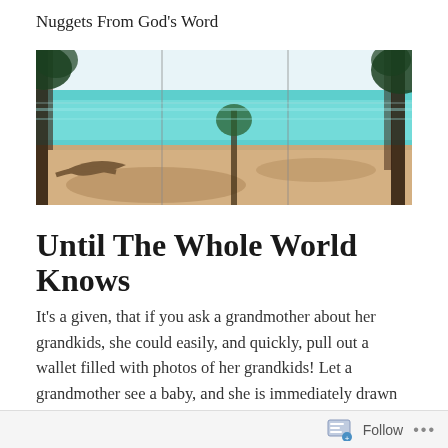Nuggets From God's Word
[Figure (photo): A panoramic beach photo showing a tropical shoreline with turquoise water, sandy beach, driftwood on the left, and trees with dark trunks framing the sides.]
Until The Whole World Knows
It's a given, that if you ask a grandmother about her grandkids, she could easily, and quickly, pull out a wallet filled with photos of her grandkids! Let a grandmother see a baby, and she is immediately drawn to it, as she is reminded of her own grandbabies. But what
Follow ...